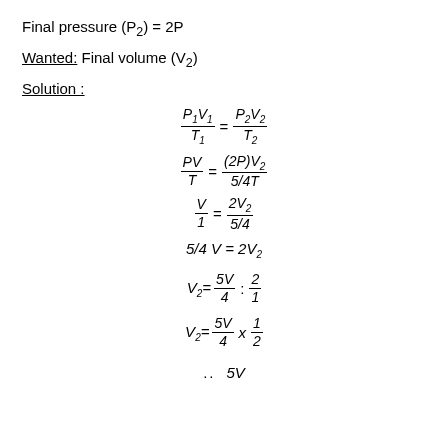Final pressure (P₂) = 2P
Wanted: Final volume (V₂)
Solution :